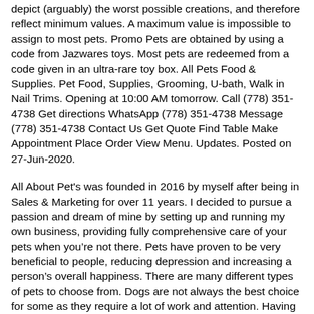depict (arguably) the worst possible creations, and therefore reflect minimum values. A maximum value is impossible to assign to most pets. Promo Pets are obtained by using a code from Jazwares toys. Most pets are redeemed from a code given in an ultra-rare toy box. All Pets Food & Supplies. Pet Food, Supplies, Grooming, U-bath, Walk in Nail Trims. Opening at 10:00 AM tomorrow. Call (778) 351-4738 Get directions WhatsApp (778) 351-4738 Message (778) 351-4738 Contact Us Get Quote Find Table Make Appointment Place Order View Menu. Updates. Posted on 27-Jun-2020.
All About Pet's was founded in 2016 by myself after being in Sales & Marketing for over 11 years. I decided to pursue a passion and dream of mine by setting up and running my own business, providing fully comprehensive care of your pets when you're not there. Pets have proven to be very beneficial to people, reducing depression and increasing a person's overall happiness. There are many different types of pets to choose from. Dogs are not always the best choice for some as they require a lot of work and attention. Having a dog can be very rewarding, but it is also a big responsibility. All Pets Mobile Clinic is dedicated to quality, compassionate veterinary care at reasonable prices. We are your one-stop shop for everything your pet may need. Located in Clinton, IA, our clinic is proud to serve pet owners and their